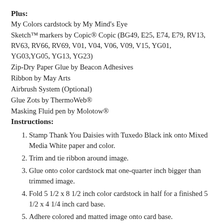Plus:
My Colors cardstock by My Mind's Eye
Sketch™ markers by Copic® Copic (BG49, E25, E74, E79, RV13, RV63, RV66, RV69, V01, V04, V06, V09, V15, YG01, YG03,YG05, YG13, YG23)
Zip-Dry Paper Glue by Beacon Adhesives
Ribbon by May Arts
Airbrush System (Optional)
Glue Zots by ThermoWeb®
Masking Fluid pen by Molotow®
Instructions:
Stamp Thank You Daisies with Tuxedo Black ink onto Mixed Media White paper and color.
Trim and tie ribbon around image.
Glue onto color cardstock mat one-quarter inch bigger than trimmed image.
Fold 5 1/2 x 8 1/2 inch color cardstock in half for a finished 5 1/2 x 4 1/4 inch card base.
Adhere colored and matted image onto card base.